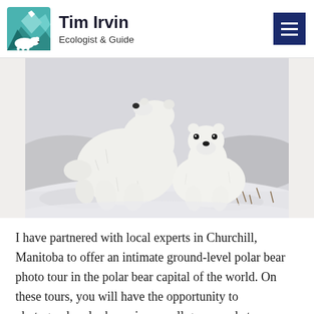Tim Irvin — Ecologist & Guide
[Figure (photo): Two polar bears (an adult and a cub) standing on snow-covered ground in Churchill, Manitoba. The adult bear is facing away from the camera while the cub faces the viewer.]
I have partnered with local experts in Churchill, Manitoba to offer an intimate ground-level polar bear photo tour in the polar bear capital of the world. On these tours, you will have the opportunity to photograph polar bears in a small group and at eye-level, rather than from way up high